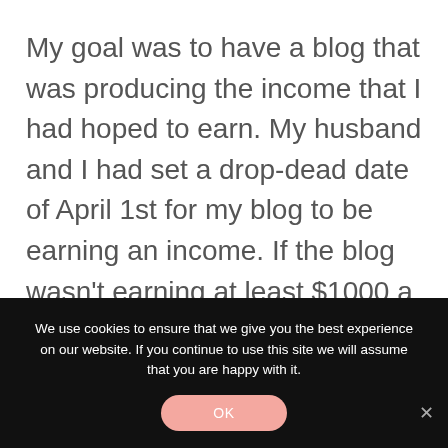My goal was to have a blog that was producing the income that I had hoped to earn. My husband and I had set a drop-dead date of April 1st for my blog to be earning an income. If the blog wasn't earning at least $1000 a month then I was going to have to get a J.O.B.
We use cookies to ensure that we give you the best experience on our website. If you continue to use this site we will assume that you are happy with it.